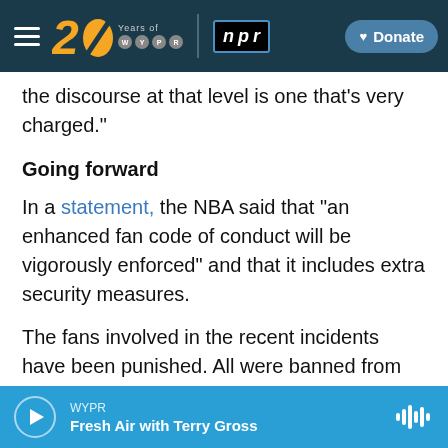[Figure (screenshot): WYPR 20 Years navigation bar with NPR logo and Donate button]
the discourse at that level is one that's very charged."
Going forward
In a statement, the NBA said that "an enhanced fan code of conduct will be vigorously enforced" and that it includes extra security measures.
The fans involved in the recent incidents have been punished. All were banned from the arenas, and the bottle-thrower in Boston also was arrested.
[Figure (screenshot): Audio player bar: WYPR Fresh Air with Terry Gross]